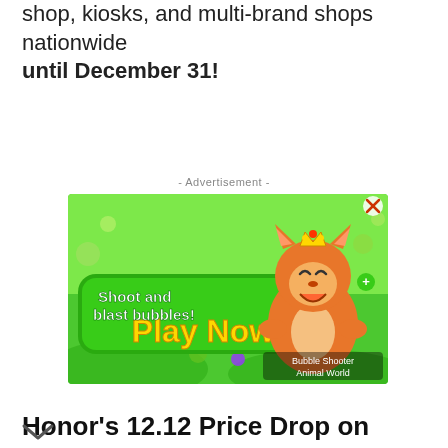shop, kiosks, and multi-brand shops nationwide until December 31!
- Advertisement -
[Figure (illustration): Mobile game advertisement banner for Bubble Shooter Animal World. Green background with cartoon fox character wearing a crown. Text reads 'Shoot and blast bubbles! Play Now' in stylized fonts. Game title 'Bubble Shooter Animal World' shown in bottom right.]
Honor's 12.12 Price Drop on December 12